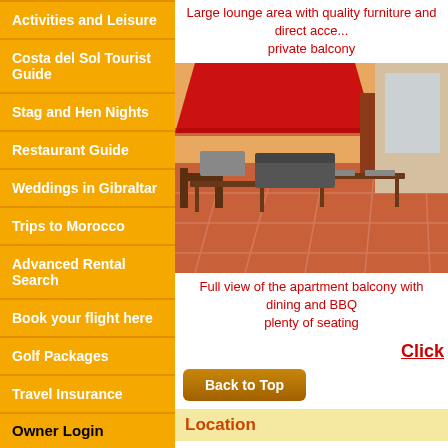Activities and Leisure
Costa del Sol Tourist Guide
Stag and Hen Nights
Restaurant Guide
Weddings in Gibraltar
Trips to Morocco
Advanced Rental Search
Book your flight here
Golf Packages
Travel Insurance
Owner Login
Username:
Password:
Large lounge area with quality furniture and direct access to the private balcony
[Figure (photo): Full view of the apartment balcony with dining furniture, BBQ area, red awning, and terracotta tile floor with plenty of seating]
Full view of the apartment balcony with dining and BBQ plenty of seating
Click
Back to Top
Location